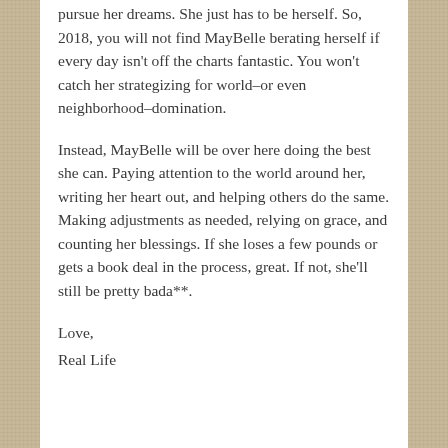pursue her dreams. She just has to be herself. So, 2018, you will not find MayBelle berating herself if every day isn't off the charts fantastic. You won't catch her strategizing for world–or even neighborhood–domination.
Instead, MayBelle will be over here doing the best she can. Paying attention to the world around her, writing her heart out, and helping others do the same. Making adjustments as needed, relying on grace, and counting her blessings. If she loses a few pounds or gets a book deal in the process, great. If not, she'll still be pretty bada**.
Love,
Real Life